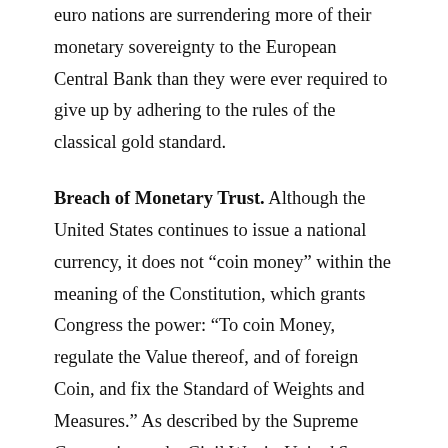euro nations are surrendering more of their monetary sovereignty to the European Central Bank than they were ever required to give up by adhering to the rules of the classical gold standard.
Breach of Monetary Trust. Although the United States continues to issue a national currency, it does not “coin money” within the meaning of the Constitution, which grants Congress the power: “To coin Money, regulate the Value thereof, and of foreign Coin, and fix the Standard of Weights and Measures.” As described by the Supreme Court prior to the Civil War in United States v. Marigold, 50 U.S. (9 How.) 261, 262-263 (1849), the government’s monetary powers rest on a